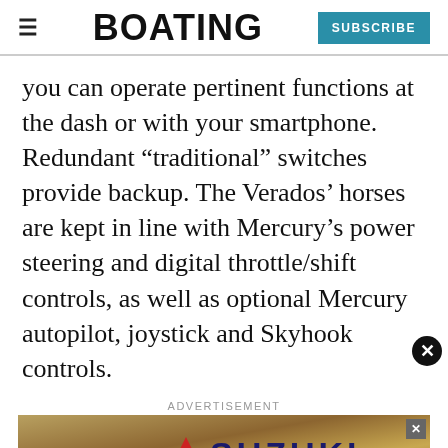BOATING | SUBSCRIBE
you can operate pertinent functions at the dash or with your smartphone. Redundant “traditional” switches provide backup. The Verados’ horses are kept in line with Mercury’s power steering and digital throttle/shift controls, as well as optional Mercury autopilot, joystick and Skyhook controls.
ADVERTISEMENT
[Figure (advertisement): Suzuki advertisement banner with brand logo text in dark blue on golden/brown background, with small X close button in top right corner]
[Figure (advertisement): GEICO offseason boat protection advertisement in dark blue: 'OFFSEASON PROTECTION FOR YOUR BOAT' with boat graphic and GEICO FOR YOUR BOAT logo]